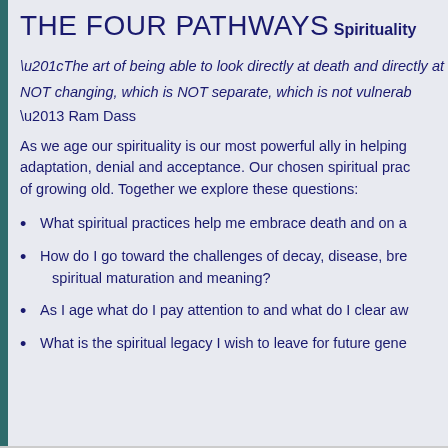THE FOUR PATHWAYS
Spirituality
“The art of being able to look directly at death and directly at NOT changing, which is NOT separate, which is not vulnerabl…
– Ram Dass
As we age our spirituality is our most powerful ally in helping adaptation, denial and acceptance. Our chosen spiritual prac… of growing old. Together we explore these questions:
What spiritual practices help me embrace death and on a…
How do I go toward the challenges of decay, disease, bre… spiritual maturation and meaning?
As I age what do I pay attention to and what do I clear aw…
What is the spiritual legacy I wish to leave for future gene…